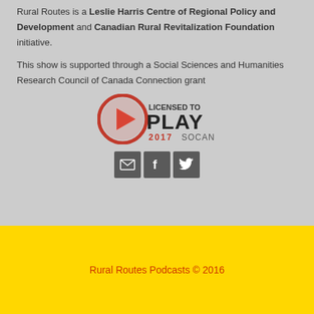Rural Routes is a Leslie Harris Centre of Regional Policy and Development and Canadian Rural Revitalization Foundation initiative.
This show is supported through a Social Sciences and Humanities Research Council of Canada Connection grant
[Figure (logo): Licensed to Play 2017 SOCAN logo with red play button circle and bold text]
[Figure (infographic): Three social media icon buttons: email (envelope), Facebook (f), and Twitter (bird)]
Rural Routes Podcasts © 2016